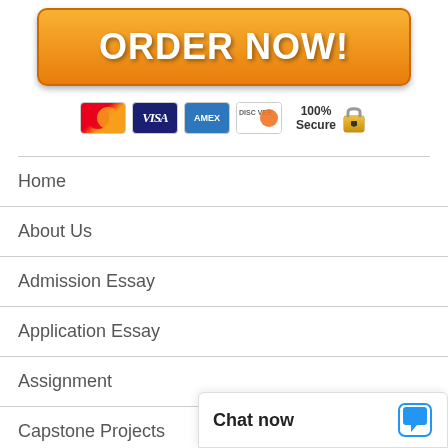[Figure (other): Orange gradient ORDER NOW button]
[Figure (other): Payment icons: MasterCard, VISA, AMEX, Discover, 100% Secure lock]
Home
About Us
Admission Essay
Application Essay
Assignment
Capstone Projects
Case Studies
[Figure (other): Chat now popup widget with speech bubble icon]